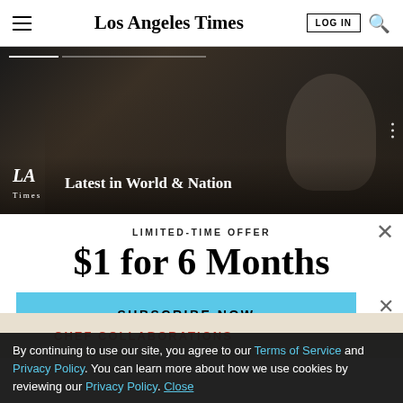Los Angeles Times
[Figure (screenshot): Hero image carousel showing people in a dark scene, with LA Times logo and text 'Latest in World & Nation'. Progress bar at top.]
LIMITED-TIME OFFER
$1 for 6 Months
SUBSCRIBE NOW
By continuing to use our site, you agree to our Terms of Service and Privacy Policy. You can learn more about how we use cookies by reviewing our Privacy Policy. Close